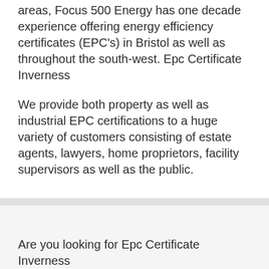areas, Focus 500 Energy has one decade experience offering energy efficiency certificates (EPC's) in Bristol as well as throughout the south-west. Epc Certificate Inverness
We provide both property as well as industrial EPC certifications to a huge variety of customers consisting of estate agents, lawyers, home proprietors, facility supervisors as well as the public.
Are you looking for Epc Certificate Inverness